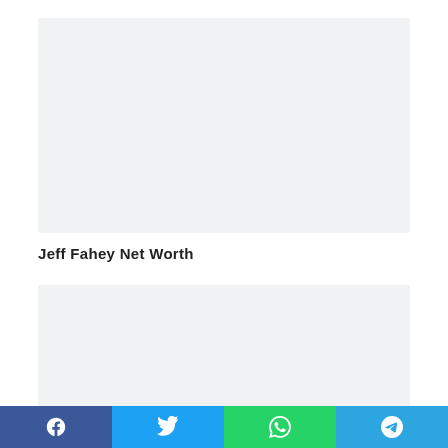[Figure (other): Advertisement placeholder box (light gray rectangle)]
Jeff Fahey Net Worth
[Figure (other): Advertisement placeholder box (light gray rectangle)]
Facebook  Twitter  WhatsApp  Telegram